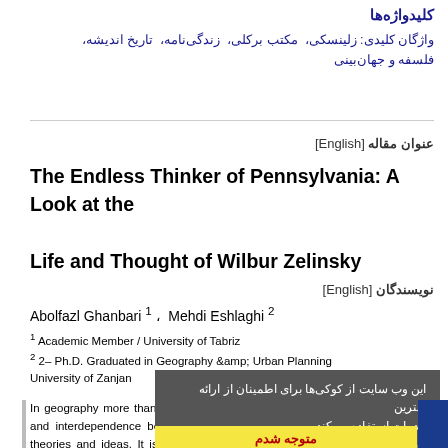کلیدواژه‌ها
واژگان کلیدی: زلینسکی، مکتب برکلی، زندگی‌نامه، تاریخ اندیشه، فلسفه و جهان‌بینی
عنوان مقاله [English]
The Endless Thinker of Pennsylvania: A Look at the Life and Thought of Wilbur Zelinsky
نویسندگان [English]
Abolfazl Ghanbari 1 ،  Mehdi Eshlaghi 2
1 Academic Member / University of Tabriz
2 2- Ph.D. Graduated in Geography &amp; Urban Planning University of Zanjan
چکیده [English]
In geography more than any other science, one can see a kind of closeness and interdependence between the individual destinies of geographers their theories and ideas. It is not without reason that the history of geographical theories is also
این وب سایت از کوکی‌ها برای اطمینان از ارائه بهترین خدمات استفاده می‌کند.
متوجه شدم